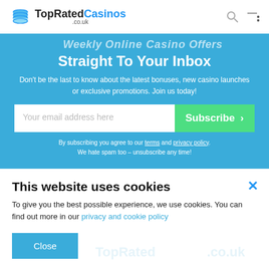TopRatedCasinos .co.uk
Straight To Your Inbox
Don't be the last to know about the latest bonuses, new casino launches or exclusive promotions. Join us today!
Your email address here
Subscribe
By subscribing you agree to our terms and privacy policy. We hate spam too – unsubscribe any time!
This website uses cookies
To give you the best possible experience, we use cookies. You can find out more in our privacy and cookie policy
Close